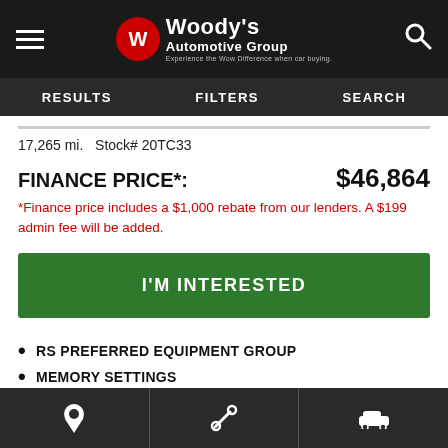Woody's Automotive Group — Experience the Wow Difference when car buying.
RESULTS  FILTERS  SEARCH
17,265 mi.  Stock# 20TC33
FINANCE PRICE*:  $46,864
*Finance price includes a $1,000 rebate from our lenders. A $199 admin fee will be added.
I'M INTERESTED
RS PREFERRED EQUIPMENT GROUP
MEMORY SETTINGS
SEATS, FRONT BUCKETS